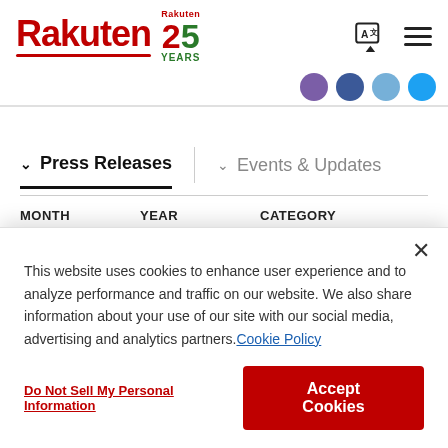Rakuten 25 Years
Press Releases | Events & Updates
MONTH   YEAR   CATEGORY
This website uses cookies to enhance user experience and to analyze performance and traffic on our website. We also share information about your use of our site with our social media, advertising and analytics partners. Cookie Policy
Do Not Sell My Personal Information
Accept Cookies